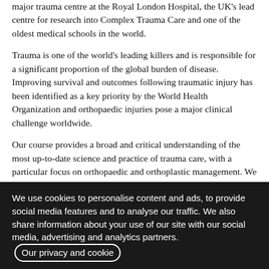major trauma centre at the Royal London Hospital, the UK's lead centre for research into Complex Trauma Care and one of the oldest medical schools in the world.
Trauma is one of the world's leading killers and is responsible for a significant proportion of the global burden of disease. Improving survival and outcomes following traumatic injury has been identified as a key priority by the World Health Organization and orthopaedic injuries pose a major clinical challenge worldwide.
Our course provides a broad and critical understanding of the most up-to-date science and practice of trauma care, with a particular focus on orthopaedic and orthoplastic management. We combine an international expert faculty with technology-enhanced learning so that you can readily access knowledge wherever you are, at a time that suits you. Interactive discussion forums and tutorials help to engender an inclusive and supportive community, as well as facilitating a worldwide network of contacts with shared interests.
We use cookies to personalise content and ads, to provide social media features and to analyse our traffic. We also share information about your use of our site with our social media, advertising and analytics partners. Our privacy and cookie